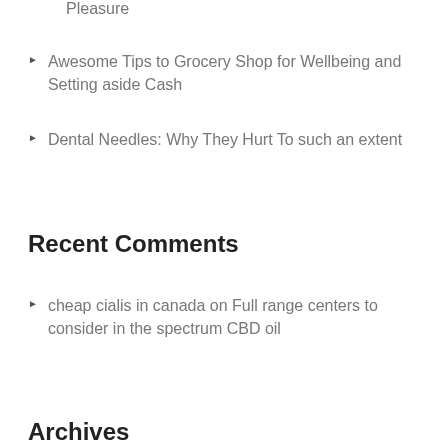Pleasure
Awesome Tips to Grocery Shop for Wellbeing and Setting aside Cash
Dental Needles: Why They Hurt To such an extent
Recent Comments
cheap cialis in canada on Full range centers to consider in the spectrum CBD oil
Archives